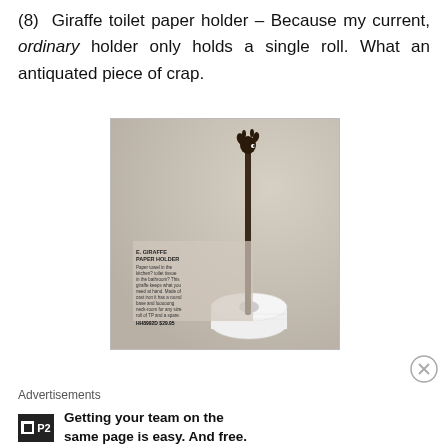(8) Giraffe toilet paper holder – Because my current, ordinary holder only holds a single roll. What an antiquated piece of crap.
[Figure (photo): Catalog photo of a giraffe-shaped toilet paper/paper towel holder. A tall thin dark metal rod with a giraffe head at the top stands through a roll of white paper towel/toilet tissue. Accompanying catalog text reads: 'E. GIRAFFE PAPER HOLDER Paper towel in the kitchen? toilet tissue in the bathroom? This giraffe keeps what you need at hand. Made of cast iron it has a round base and looooong neck-room for any size roll of TP and a spare. Decorative, functional, and fun. 5" base, 18½" high. HH8992D $29.95']
Advertisements
Getting your team on the same page is easy. And free.